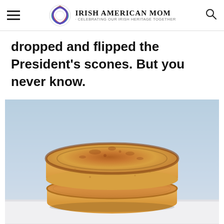Irish American Mom - Celebrating Our Irish Heritage Together
dropped and flipped the President's scones. But you never know.
[Figure (photo): Two stacked round griddle scones (Irish pan scones) with golden-brown tops, sitting on a white surface against a light blue background.]